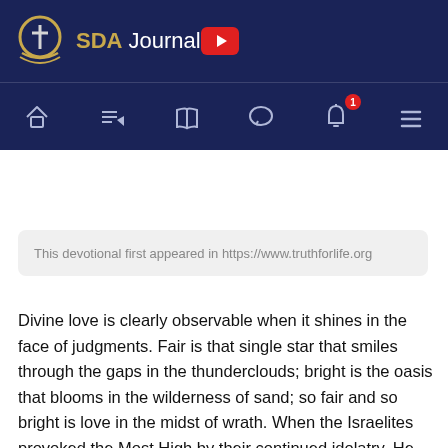SDA Journal
This devotional first appeared in https://www.truthforlife.org
Divine love is clearly observable when it shines in the face of judgments. Fair is that single star that smiles through the gaps in the thunderclouds; bright is the oasis that blooms in the wilderness of sand; so fair and so bright is love in the midst of wrath. When the Israelites provoked the Most High by their continued idolatry, He punished them by withholding both dew and rain, so that their land was visited by a sore famine; but while He did this, He took care that His own chosen ones should be secure. If all other brooks are